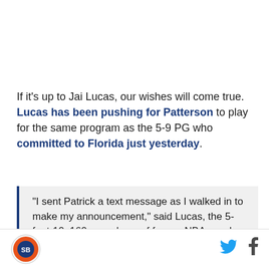If it's up to Jai Lucas, our wishes will come true. Lucas has been pushing for Patterson to play for the same program as the 5-9 PG who committed to Florida just yesterday.
"I sent Patrick a text message as I walked in to make my announcement," said Lucas, the 5-foot-10, 160-pound son of former NBA coach John Lucas. "He said congrats. I hope to see him come with me."
[Figure (logo): Circular logo with blue/orange design]